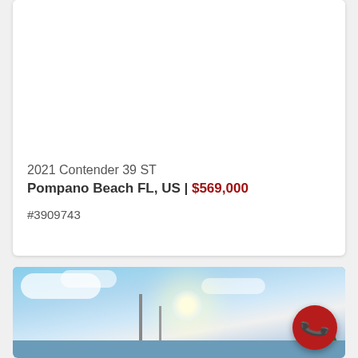2021 Contender 39 ST
Pompano Beach FL, US | $569,000
#3909743
[Figure (photo): Exterior photo of a boat with masts against a bright sky with clouds and sun, near water with trees in the background]